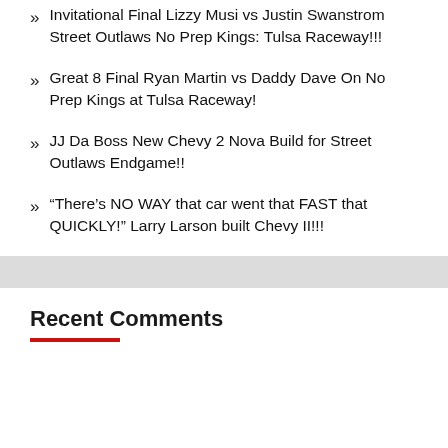Invitational Final Lizzy Musi vs Justin Swanstrom Street Outlaws No Prep Kings: Tulsa Raceway!!!
Great 8 Final Ryan Martin vs Daddy Dave On No Prep Kings at Tulsa Raceway!
JJ Da Boss New Chevy 2 Nova Build for Street Outlaws Endgame!!
“There’s NO WAY that car went that FAST that QUICKLY!” Larry Larson built Chevy II!!!
Recent Comments